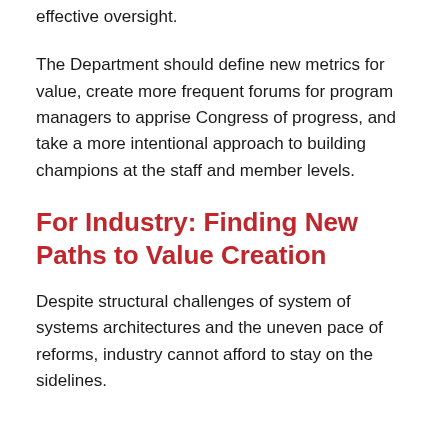effective oversight.
The Department should define new metrics for value, create more frequent forums for program managers to apprise Congress of progress, and take a more intentional approach to building champions at the staff and member levels.
For Industry: Finding New Paths to Value Creation
Despite structural challenges of system of systems architectures and the uneven pace of reforms, industry cannot afford to stay on the sidelines.